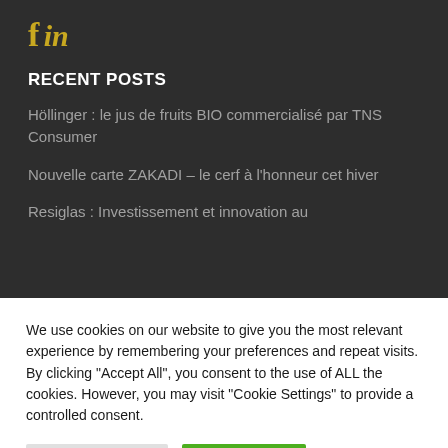[Figure (logo): Social media icons: Facebook 'f' and LinkedIn 'in' in yellow/gold color]
RECENT POSTS
Höllinger : le jus de fruits BIO commercialisé par TNS Consumer
Nouvelle carte ZAKADI – le cerf à l'honneur cet hiver
Resiglas : Investissement et innovation au
We use cookies on our website to give you the most relevant experience by remembering your preferences and repeat visits. By clicking "Accept All", you consent to the use of ALL the cookies. However, you may visit "Cookie Settings" to provide a controlled consent.
Cookie Settings | Accept All